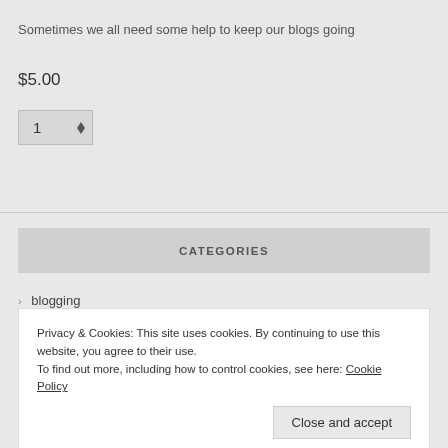Sometimes we all need some help to keep our blogs going
$5.00
CATEGORIES
> blogging
Privacy & Cookies: This site uses cookies. By continuing to use this website, you agree to their use.
To find out more, including how to control cookies, see here: Cookie Policy
Close and accept
> Linden Lab